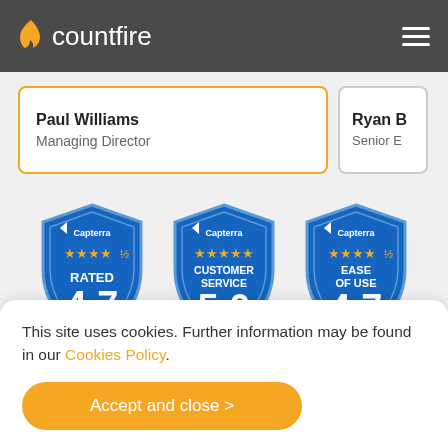countfire
Paul Williams
Managing Director
Ryan B
Senior E
[Figure (infographic): Capterra badge: RATED 4.7 with 4.5 orange stars]
[Figure (infographic): Capterra badge: CUSTOMER SERVICE 5.0 with 5 orange stars]
[Figure (infographic): Capterra badge: EASE OF USE 4.7 with 4.5 orange stars]
This site uses cookies. Further information may be found in our Cookies Policy.
Accept and close >